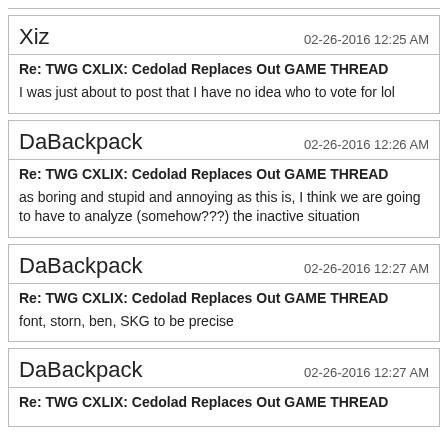Xiz — 02-26-2016 12:25 AM
Re: TWG CXLIX: Cedolad Replaces Out GAME THREAD
I was just about to post that I have no idea who to vote for lol
DaBackpack — 02-26-2016 12:26 AM
Re: TWG CXLIX: Cedolad Replaces Out GAME THREAD
as boring and stupid and annoying as this is, I think we are going to have to analyze (somehow???) the inactive situation
DaBackpack — 02-26-2016 12:27 AM
Re: TWG CXLIX: Cedolad Replaces Out GAME THREAD
font, storn, ben, SKG to be precise
DaBackpack — 02-26-2016 12:27 AM
Re: TWG CXLIX: Cedolad Replaces Out GAME THREAD